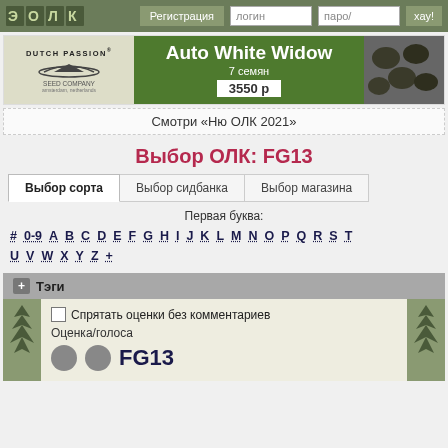ЭОЛК | Регистрация | логин | паро/ | хау!
[Figure (illustration): Dutch Passion Seed Company banner advertising Auto White Widow 7 семян 3550 р]
Смотри «Ню ОЛК 2021»
Выбор ОЛК: FG13
Выбор сорта	Выбор сидбанка	Выбор магазина
Первая буква:
# 0-9 A B C D E F G H I J K L M N O P Q R S T
U V W X Y Z +
+ Тэги
Спрятать оценки без комментариев
Оценка/голоса
FG13